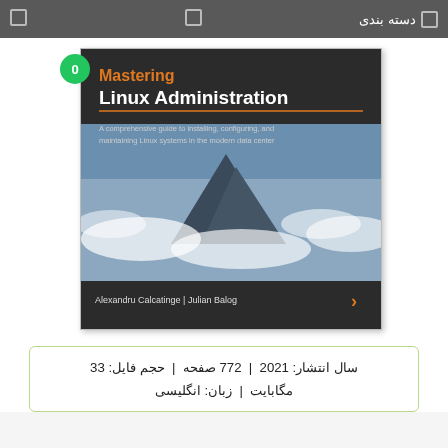دسته بندی
[Figure (illustration): Book cover of 'Mastering Linux Administration' by Alexandru Calcatinge and Julian Balog, published by Packt. Orange title text 'Mastering' above white 'Linux Administration'. Subtitle: 'A comprehensive guide to installing, configuring, and maintaining Linux systems in the modern data center'. Mountain/cloud landscape photo. Dark header and footer bands.]
سال انتشار: 2021 | 772 صفحه | حجم فایل: 33 مگابایت | زبان: انگلیسی